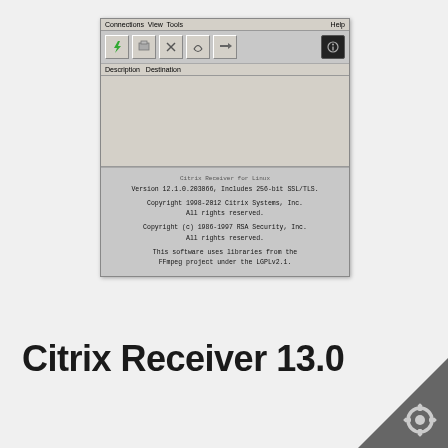[Figure (screenshot): Screenshot of Citrix Receiver for Linux application window showing menu bar with Connections, View, Tools, Help; toolbar with icons; Description/Destination column headers; empty list area; and About dialog text showing version 12.1.0.203066 with SSL/TLS, copyright notices for Citrix Systems Inc 1998-2012, RSA Security Inc 1986-1997, and FFmpeg LGPLv2.1 notice.]
Citrix Receiver 13.0